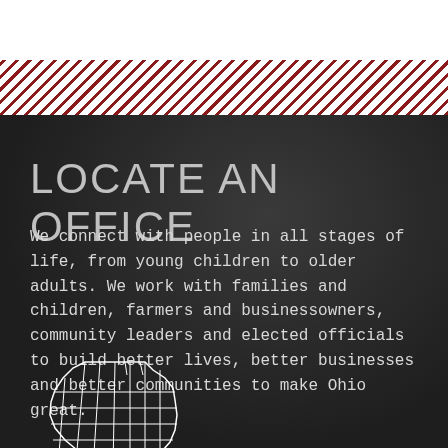LOCATE AN OFFICE
We connect with people in all stages of life, from young children to older adults. We work with families and children, farmers and businessowners, community leaders and elected officials to build better lives, better businesses and better communities to make Ohio great.
[Figure (map): Outline map of Ohio showing county boundaries in white on dark background]